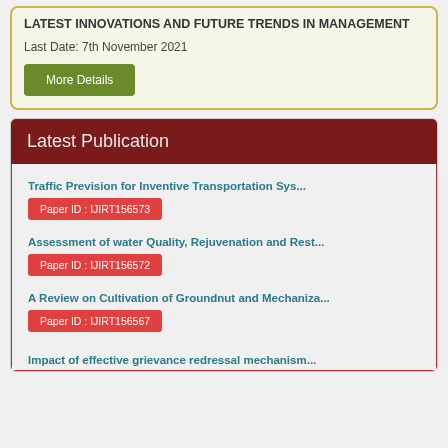LATEST INNOVATIONS AND FUTURE TRENDS IN MANAGEMENT
Last Date: 7th November 2021
More Details
Latest Publication
Traffic Prevision for Inventive Transportation Sys...
Paper ID : IJIRT156573
Assessment of water Quality, Rejuvenation and Rest...
Paper ID : IJIRT156572
A Review on Cultivation of Groundnut and Mechaniza...
Paper ID : IJIRT156567
Impact of effective grievance redressal mechanism...